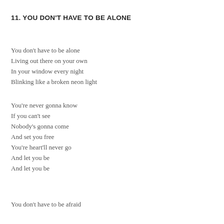11. YOU DON'T HAVE TO BE ALONE
You don't have to be alone
Living out there on your own
In your window every night
Blinking like a broken neon light
You're never gonna know
If you can't see
Nobody's gonna come
And set you free
You're heart'll never go
And let you be
And let you be
You don't have to be afraid